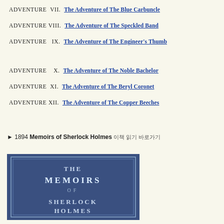ADVENTURE VII. The Adventure of The Blue Carbuncle
ADVENTURE VIII. The Adventure of The Speckled Band
ADVENTURE IX. The Adventure of The Engineer's Thumb
ADVENTURE X. The Adventure of The Noble Bachelor
ADVENTURE XI. The Adventure of The Beryl Coronet
ADVENTURE XII. The Adventure of The Copper Beeches
► 1894 Memoirs of Sherlock Holmes 이 책 읽기 바로가기
[Figure (photo): Blue book cover of The Memoirs of Sherlock Holmes with decorative text]